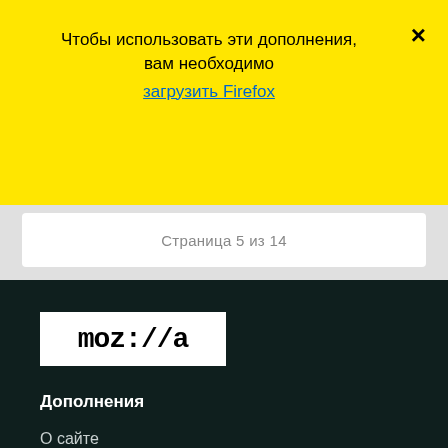Чтобы использовать эти дополнения, вам необходимо загрузить Firefox
Страница 5 из 14
[Figure (logo): Mozilla logo: white rectangle with 'moz://a' text in black monospace font]
Дополнения
О сайте
Блог дополнений для Firefox
Мастерская расширений